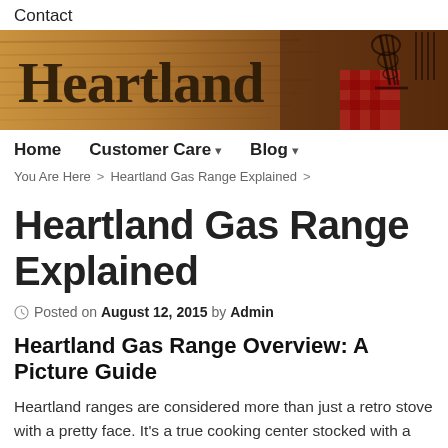Contact
[Figure (illustration): Heartland brand banner with rustic wood background, large serif Heartland logo text, and kitchen utensils (whisk, red checkered cloth) on right side]
Home   Customer Care ▾   Blog ▾
You Are Here  >  Heartland Gas Range Explained  >
Heartland Gas Range Explained
Posted on August 12, 2015 by Admin
Heartland Gas Range Overview: A Picture Guide
Heartland ranges are considered more than just a retro stove with a pretty face. It's a true cooking center stocked with a host of unique features. It's a commercial quality cooktop, a